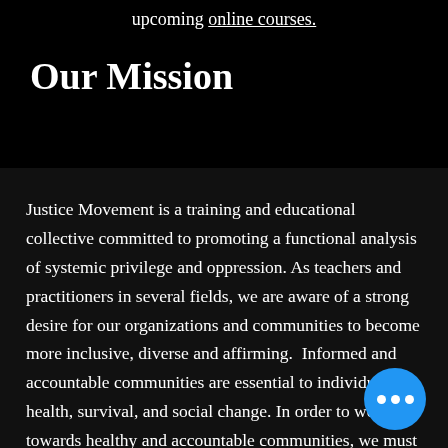upcoming online courses.
Our Mission
Justice Movement is a training and educational collective committed to promoting a functional analysis of systemic privilege and oppression. As teachers and practitioners in several fields, we are aware of a strong desire for our organizations and communities to become more inclusive, diverse and affirming.  Informed and accountable communities are essential to individual health, survival, and social change. In order to work towards healthy and accountable communities, we must acknowledge and address systemic